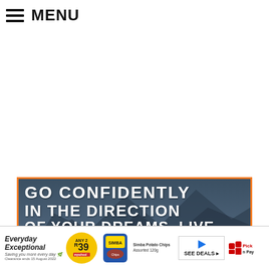≡ MENU
[Figure (illustration): Motivational banner advertisement with mountain background and text: GO CONFIDENTLY IN THE DIRECTION OF YOUR DREAMS. LIVE, with orange border]
[Figure (infographic): Pick n Pay advertisement banner: Everyday Exceptional - Saving you more every day. Any 2 R39, Simba Potato Chips Assorted 120g. SEE DEALS button with Play icon. Pick n Pay logo.]